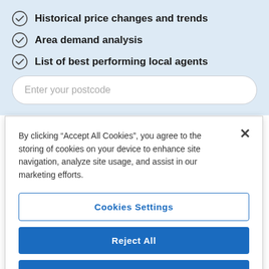Historical price changes and trends
Area demand analysis
List of best performing local agents
Enter your postcode
By clicking “Accept All Cookies”, you agree to the storing of cookies on your device to enhance site navigation, analyze site usage, and assist in our marketing efforts.
Cookies Settings
Reject All
Accept All Cookies